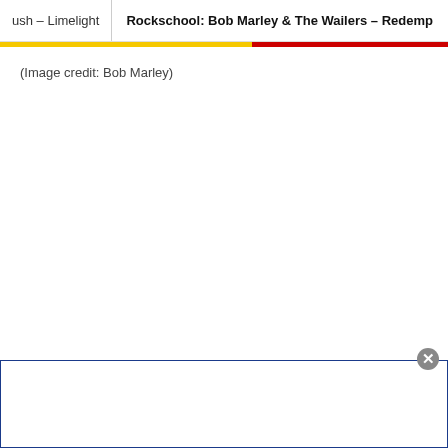ush – Limelight | Rockschool: Bob Marley & The Wailers – Redemp
(Image credit: Bob Marley)